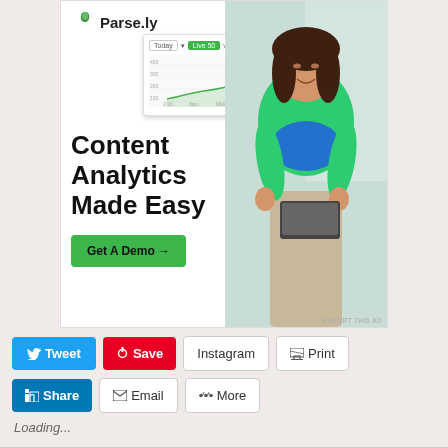[Figure (screenshot): Parse.ly advertisement banner featuring logo, dashboard screenshot with line chart, woman in green sweater, headline 'Content Analytics Made Easy', and green 'Get A Demo →' button]
REPORT THIS AD
Tweet
Save
Instagram
Print
Share
Email
More
Loading...